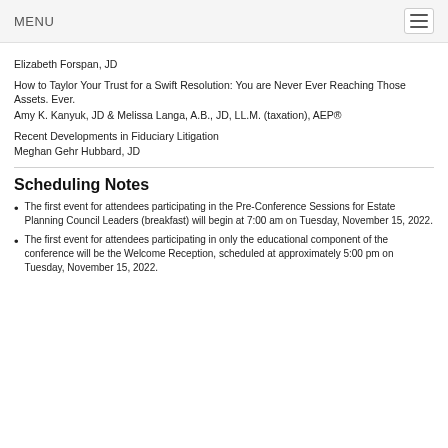MENU
Elizabeth Forspan, JD
How to Taylor Your Trust for a Swift Resolution: You are Never Ever Reaching Those Assets. Ever.
Amy K. Kanyuk, JD & Melissa Langa, A.B., JD, LL.M. (taxation), AEP®
Recent Developments in Fiduciary Litigation
Meghan Gehr Hubbard, JD
Scheduling Notes
The first event for attendees participating in the Pre-Conference Sessions for Estate Planning Council Leaders (breakfast) will begin at 7:00 am on Tuesday, November 15, 2022.
The first event for attendees participating in only the educational component of the conference will be the Welcome Reception, scheduled at approximately 5:00 pm on Tuesday, November 15, 2022.